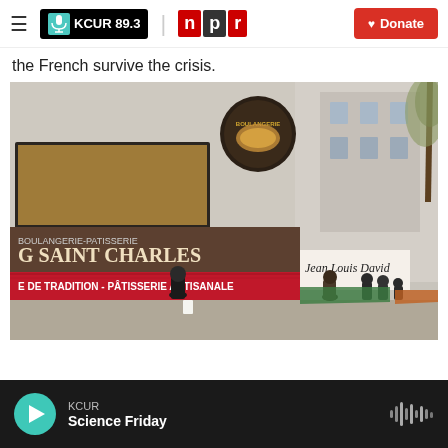KCUR 89.3 | npr | Donate
the French survive the crisis.
[Figure (photo): Street-level photo of a French boulangerie-patisserie called 'G Saint Charles' with a red awning reading 'E DE TRADITION - PÂTISSERIE ARTISANALE'. Next to it is a 'Jean Louis David' shop. Several people are standing on the sidewalk in front of the bakery. A circular BOULANGERIE sign hangs above the storefront.]
KCUR — Science Friday